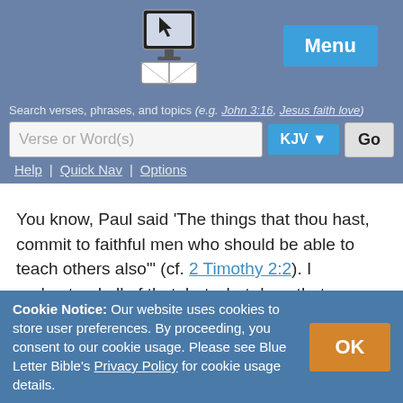[Figure (logo): Blue Letter Bible logo: computer monitor above an open book]
Menu
Search verses, phrases, and topics (e.g. John 3:16, Jesus faith love)
Verse or Word(s)
KJV ▼
Go
Help | Quick Nav | Options
You know, Paul said 'The things that thou hast, commit to faithful men who should be able to teach others also'" (cf. 2 Timothy 2:2). I understand all of that, but what does that mean, mentoring? Didn't Paul say follow me because I follow Christ? Isn't the real Mentor Christ?
It's interesting to me. There is almost a worship of
Cookie Notice: Our website uses cookies to store user preferences. By proceeding, you consent to our cookie usage. Please see Blue Letter Bible's Privacy Policy for cookie usage details.
OK